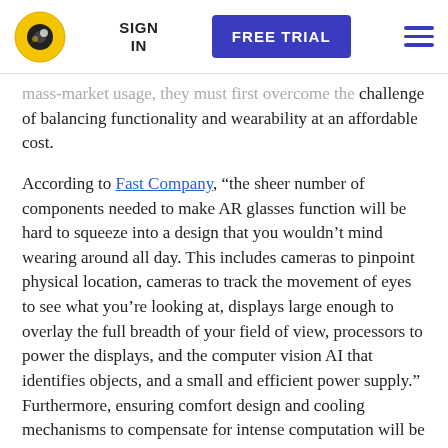SIGN IN | FREE TRIAL | [menu]
mass-market usage, they must first overcome the challenge of balancing functionality and wearability at an affordable cost.
According to Fast Company, “the sheer number of components needed to make AR glasses function will be hard to squeeze into a design that you wouldn’t mind wearing around all day. This includes cameras to pinpoint physical location, cameras to track the movement of eyes to see what you’re looking at, displays large enough to overlay the full breadth of your field of view, processors to power the displays, and the computer vision AI that identifies objects, and a small and efficient power supply.” Furthermore, ensuring comfort design and cooling mechanisms to compensate for intense computation will be key for mass adoption.
Despite these challenges, there are many smart